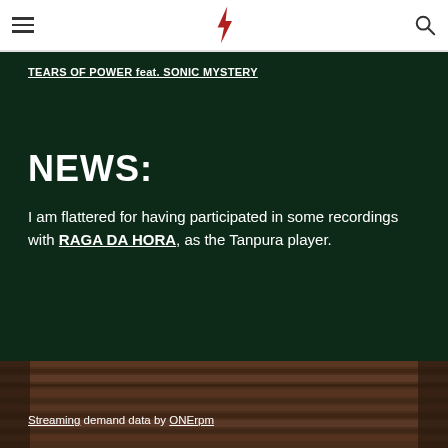TEARS OF POWER feat. SONIC MYSTERY
NEWS:
I am flattered for having participated in some recordings with RAGA DA HORA, as the Tanpura player.
Streaming demand data by ONErpm